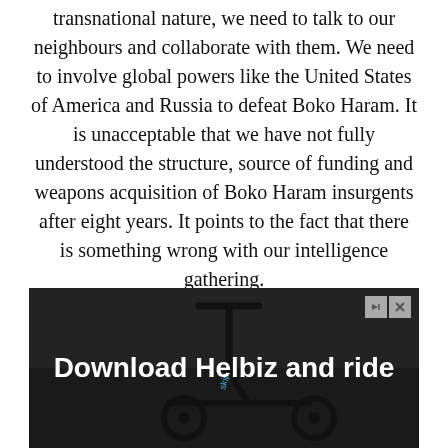transnational nature, we need to talk to our neighbours and collaborate with them. We need to involve global powers like the United States of America and Russia to defeat Boko Haram. It is unacceptable that we have not fully understood the structure, source of funding and weapons acquisition of Boko Haram insurgents after eight years. It points to the fact that there is something wrong with our intelligence gathering. Sixthly, it is high time the executive and legislative arms of government gave the military more support in resources to scale up infrastructure, technology, and human capacity to confront this monster once and for all
[Figure (photo): Advertisement banner showing a scooter/kick-scooter in an urban setting with text 'Download Helbiz and ride' in white bold font on a dark background. Close and skip ad controls visible in top right.]